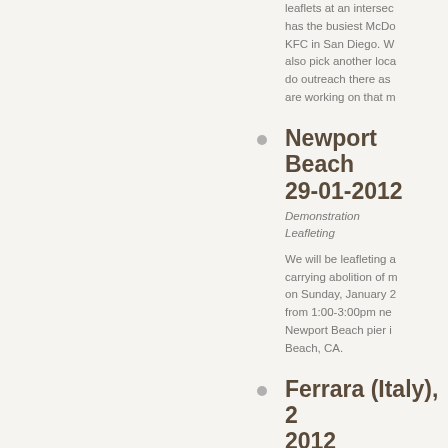leaflets at an intersection that has the busiest McDonald's KFC in San Diego. We also pick another location to do outreach there as we are working on that m...
Newport Beach 29-01-2012
Demonstration
Leafleting
We will be leafleting a carrying abolition of m on Sunday, January 2 from 1:00-3:00pm ne Newport Beach pier i Beach, CA.
Ferrara (Italy), 2 2012
Information stand
Leafleting